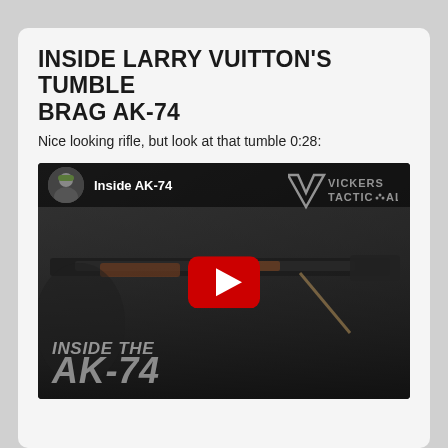INSIDE LARRY VUITTON'S TUMBLE BRAG AK-74
Nice looking rifle, but look at that tumble 0:28:
[Figure (screenshot): YouTube video thumbnail for 'Inside AK-74' by Vickers Tactical channel. Shows a dark image of an AK-74 rifle being held, with text overlay 'INSIDE THE AK-74' in large grey italic font. A red YouTube play button is centered. The top bar shows the channel avatar and title 'Inside AK-74' with the Vickers Tactical logo in the upper right.]